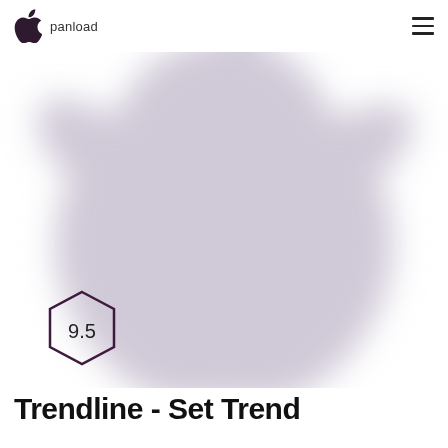panload
[Figure (logo): Large blurred Apple logo (grey) centered in hero area with a small dark Apple logo+wordmark in header]
[Figure (other): Hexagon badge with rating 9.5 in dark purple outline]
Trendline - Set Trend